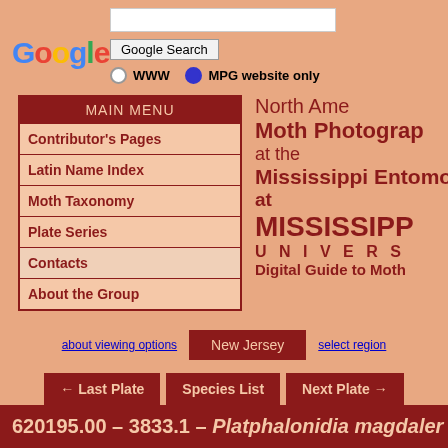[Figure (screenshot): Google search bar with search input field, Google Search button, and radio buttons for WWW and MPG website only options]
North American Moth Photographers Group at the Mississippi Entomological Museum at MISSISSIPPI STATE UNIVERSITY Digital Guide to Moth
Contributor's Pages
Latin Name Index
Moth Taxonomy
Plate Series
Contacts
About the Group
about viewing options
New Jersey
select region
← Last Plate   Species List   Next Plate →
620195.00 – 3833.1 – Platphalonidia magdaler